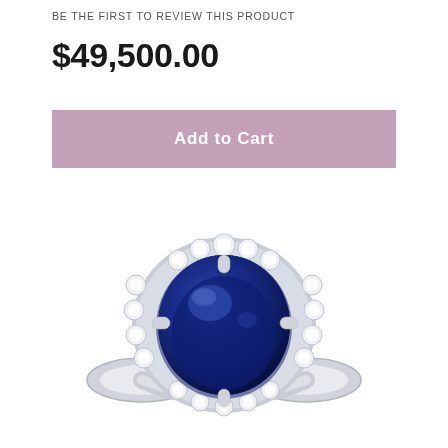BE THE FIRST TO REVIEW THIS PRODUCT
$49,500.00
Add to Cart
[Figure (photo): A luxury sapphire and diamond ring featuring a large oval blue sapphire center stone surrounded by a halo of round brilliant diamonds set in white metal (platinum or white gold), displayed on a white background.]